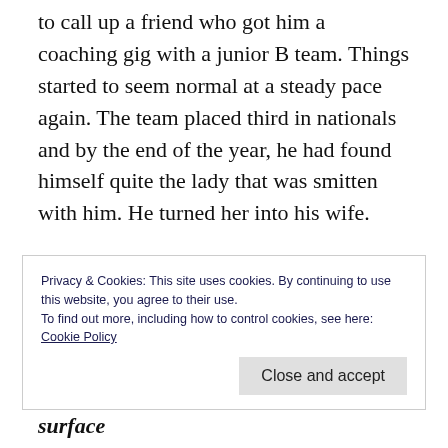to call up a friend who got him a coaching gig with a junior B team. Things started to seem normal at a steady pace again. The team placed third in nationals and by the end of the year, he had found himself quite the lady that was smitten with him. He turned her into his wife.
However after a few problems in the relationship arose, McIlrath reached his all-time low. He quit coaching and succumbed to
Privacy & Cookies: This site uses cookies. By continuing to use this website, you agree to their use.
To find out more, including how to control cookies, see here:
Cookie Policy
Close and accept
it was all too much. “Everything on the surface